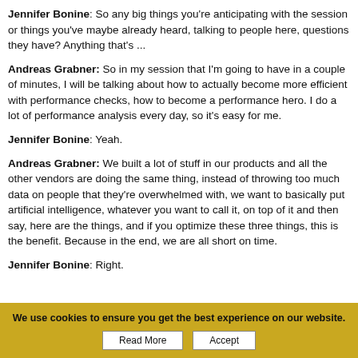Jennifer Bonine: So any big things you're anticipating with the session or things you've maybe already heard, talking to people here, questions they have? Anything that's ...
Andreas Grabner: So in my session that I'm going to have in a couple of minutes, I will be talking about how to actually become more efficient with performance checks, how to become a performance hero. I do a lot of performance analysis every day, so it's easy for me.
Jennifer Bonine: Yeah.
Andreas Grabner: We built a lot of stuff in our products and all the other vendors are doing the same thing, instead of throwing too much data on people that they're overwhelmed with, we want to basically put artificial intelligence, whatever you want to call it, on top of it and then say, here are the things, and if you optimize these three things, this is the benefit. Because in the end, we are all short on time.
Jennifer Bonine: Right.
We use cookies to ensure you get the best experience on our website.